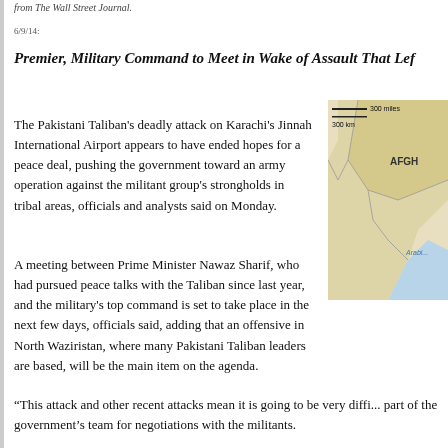from The Wall Street Journal.
6/9/14:
Premier, Military Command to Meet in Wake of Assault That Lef
[Figure (map): Partial map showing region including Afghanistan (labeled AFGH) and Arabian Sea (labeled Arabi...). Scale bars show 300 miles and 300 km. Beige/tan colored map with blue water areas.]
The Pakistani Taliban's deadly attack on Karachi's Jinnah International Airport appears to have ended hopes for a peace deal, pushing the government toward an army operation against the militant group's strongholds in tribal areas, officials and analysts said on Monday.
A meeting between Prime Minister Nawaz Sharif, who had pursued peace talks with the Taliban since last year, and the military's top command is set to take place in the next few days, officials said, adding that an offensive in North Waziristan, where many Pakistani Taliban leaders are based, will be the main item on the agenda.
“This attack and other recent attacks mean it is going to be very diffi... part of the government's team for negotiations with the militants.